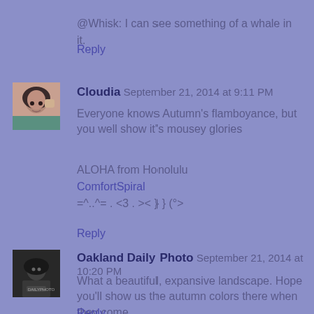@Whisk: I can see something of a whale in it.
Reply
[Figure (photo): Avatar photo of Cloudia, woman with dark hair resting hand near face]
Cloudia  September 21, 2014 at 9:11 PM
Everyone knows Autumn's flamboyance, but you well show it's mousey glories
ALOHA from Honolulu
ComfortSpiral
=^..^= . <3 . >< } } (°>
Reply
[Figure (photo): Avatar photo of Oakland Daily Photo, person in dark clothing]
Oakland Daily Photo  September 21, 2014 at 10:20 PM
What a beautiful, expansive landscape. Hope you'll show us the autumn colors there when they come.
Reply